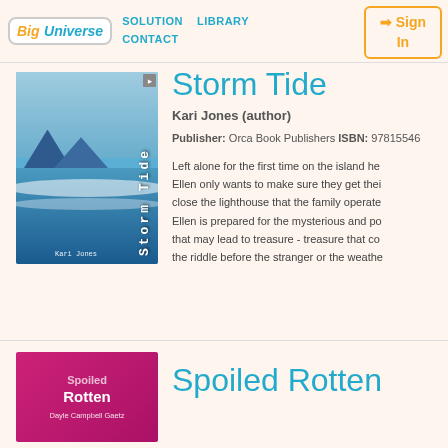Big Universe | SOLUTION  LIBRARY  CONTACT | Sign In
[Figure (illustration): Book cover for Storm Tide by Kari Jones, showing ocean waves with mountains and blue sky, vertical title text]
Storm Tide
Kari Jones (author)
Publisher: Orca Book Publishers ISBN: 978155469...
Left alone for the first time on the island he... Ellen only wants to make sure they get thei... close the lighthouse that the family operate... Ellen is prepared for the mysterious and po... that may lead to treasure - treasure that co... the riddle before the stranger or the weathe...
[Figure (illustration): Book cover for Spoiled Rotten by Dayle Campbell Gaetz, pink/magenta background with white text]
Spoiled Rotten